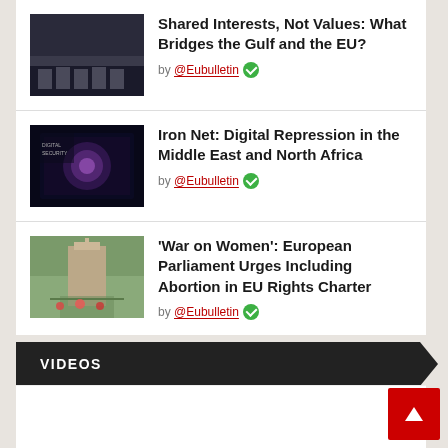Shared Interests, Not Values: What Bridges the Gulf and the EU? by @Eubulletin
Iron Net: Digital Repression in the Middle East and North Africa by @Eubulletin
'War on Women': European Parliament Urges Including Abortion in EU Rights Charter by @Eubulletin
VIDEOS